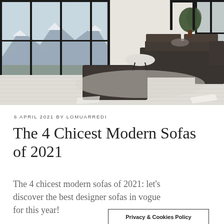[Figure (photo): Modern luxury living room interior with dark modular sofas, low ottoman/coffee table, light wood herringbone flooring, and large floor-to-ceiling windows showing a mountain landscape with snow-capped peaks. Plants and a round white table visible in background.]
6 APRIL 2021 BY LOMUARREDI
The 4 Chicest Modern Sofas of 2021
The 4 chicest modern sofas of 2021: let's discover the best designer sofas in vogue for this year!
Privacy & Cookies Policy